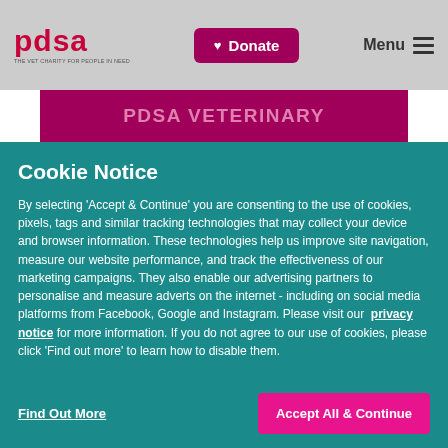pdsa | Donate | Menu
PDSA VETERINARY
Cookie Notice
By selecting 'Accept & Continue' you are consenting to the use of cookies, pixels, tags and similar tracking technologies that may collect your device and browser information. These technologies help us improve site navigation, measure our website performance, and track the effectiveness of our marketing campaigns. They also enable our advertising partners to personalise and measure adverts on the internet - including on social media platforms from Facebook, Google and Instagram. Please visit our privacy notice for more information. If you do not agree to our use of cookies, please click 'Find out more' to learn how to disable them.
Find Out More
Accept All & Continue